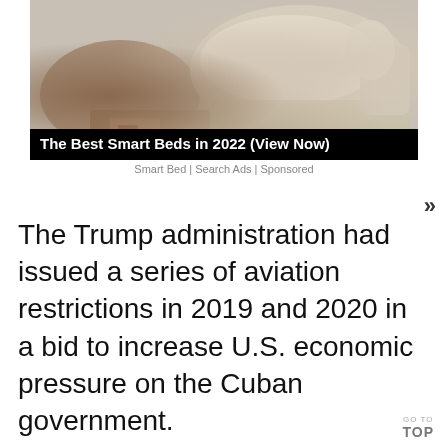[Figure (photo): Advertisement image showing a smart bed with storage drawers, leather upholstery, and various features. Includes playback controls and a progress bar overlay.]
The Best Smart Beds in 2022 (View Now)
Smart Bed | Search Ads | Sponsored
The Trump administration had issued a series of aviation restrictions in 2019 and 2020 in a bid to increase U.S. economic pressure on the Cuban government.
GO TO TOP